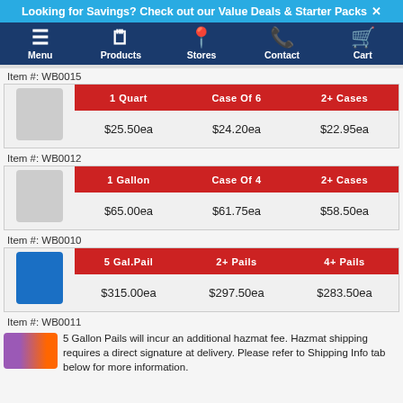Looking for Savings? Check out our Value Deals & Starter Packs ✕
[Figure (screenshot): Navigation bar with Menu, Products, Stores, Contact, Cart icons on dark blue background]
Item #: WB0015
|  | 1 Quart | Case Of 6 | 2+ Cases |
| --- | --- | --- | --- |
| [product image] | $25.50ea | $24.20ea | $22.95ea |
Item #: WB0012
|  | 1 Gallon | Case Of 4 | 2+ Cases |
| --- | --- | --- | --- |
| [product image] | $65.00ea | $61.75ea | $58.50ea |
Item #: WB0010
|  | 5 Gal.Pail | 2+ Pails | 4+ Pails |
| --- | --- | --- | --- |
| [product image] | $315.00ea | $297.50ea | $283.50ea |
Item #: WB0011
5 Gallon Pails will incur an additional hazmat fee. Hazmat shipping requires a direct signature at delivery. Please refer to Shipping Info tab below for more information.